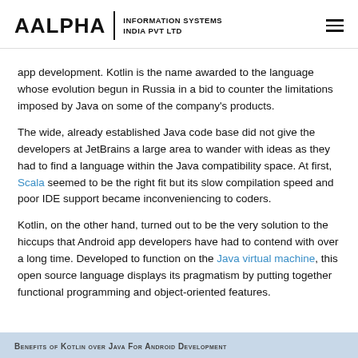AALPHA | INFORMATION SYSTEMS INDIA PVT LTD
app development. Kotlin is the name awarded to the language whose evolution begun in Russia in a bid to counter the limitations imposed by Java on some of the company's products.
The wide, already established Java code base did not give the developers at JetBrains a large area to wander with ideas as they had to find a language within the Java compatibility space. At first, Scala seemed to be the right fit but its slow compilation speed and poor IDE support became inconveniencing to coders.
Kotlin, on the other hand, turned out to be the very solution to the hiccups that Android app developers have had to contend with over a long time. Developed to function on the Java virtual machine, this open source language displays its pragmatism by putting together functional programming and object-oriented features.
Benefits of Kotlin over Java For Android Development